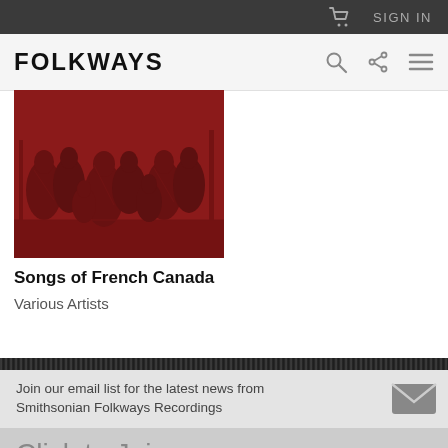SIGN IN
FOLKWAYS
[Figure (illustration): Red-toned illustration of a group of people in a historical scene, appearing to be a folk gathering or musical event. The image is monochromatic in deep red/maroon tones.]
Songs of French Canada
Various Artists
Join our email list for the latest news from Smithsonian Folkways Recordings
Click to Join